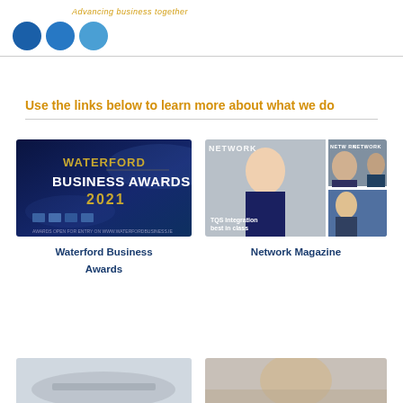Advancing business together
[Figure (illustration): Three overlapping blue circles representing social media icons]
Use the links below to learn more about what we do
[Figure (photo): Waterford Business Awards 2021 promotional image with dark blue background and gold text]
Waterford Business Awards
[Figure (photo): Network Magazine collage showing multiple magazine covers with people]
Network Magazine
[Figure (photo): Partially visible image at bottom left]
[Figure (photo): Partially visible image at bottom right]